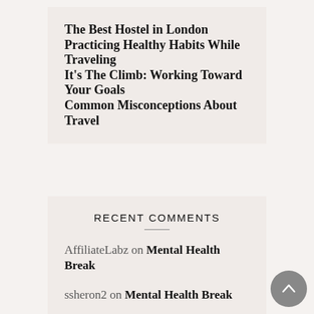The Best Hostel in London
Practicing Healthy Habits While Traveling
It's The Climb: Working Toward Your Goals
Common Misconceptions About Travel
RECENT COMMENTS
AffiliateLabz on Mental Health Break
ssheron2 on Mental Health Break
Karie on Mental Health Break